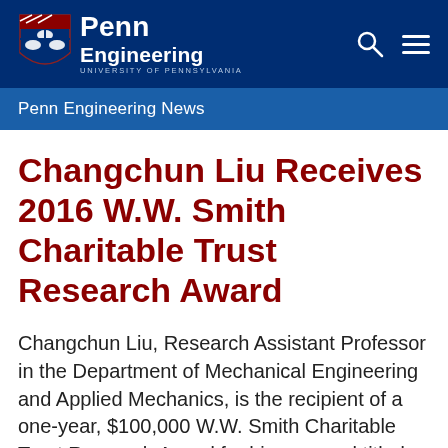[Figure (logo): Penn Engineering University of Pennsylvania logo with shield and navigation icons on dark blue background]
Penn Engineering News
Changchun Liu Receives 2016 W.W. Smith Charitable Trust Research Award
Changchun Liu, Research Assistant Professor in the Department of Mechanical Engineering and Applied Mechanics, is the recipient of a one-year, $100,000 W.W. Smith Charitable Trust Research Award for his proposal titled, “A New Approach for Concurrent Detection of